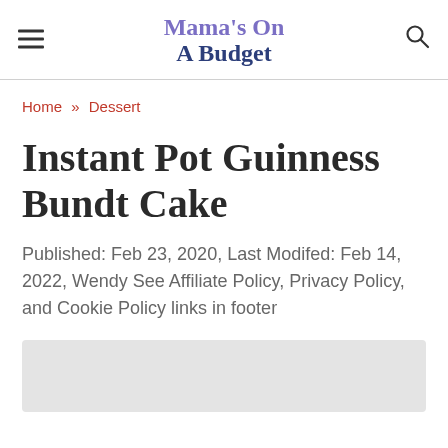Mama's On A Budget
Home » Dessert
Instant Pot Guinness Bundt Cake
Published: Feb 23, 2020, Last Modifed: Feb 14, 2022, Wendy See Affiliate Policy, Privacy Policy, and Cookie Policy links in footer
[Figure (photo): Light gray image placeholder rectangle at the bottom of the page]